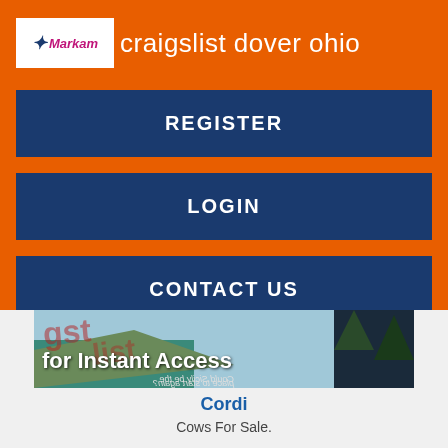craigslist dover ohio
REGISTER
LOGIN
CONTACT US
[Figure (photo): Banner image with text overlay reading 'for Instant Access', with background showing a travel/scenic image and mirrored text 'Could Sicily be the place to start again?']
Cordi
Cows For Sale.